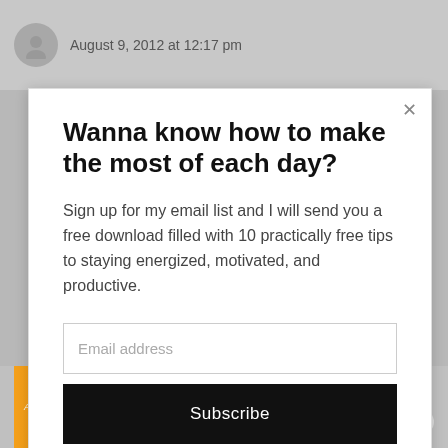August 9, 2012 at 12:17 pm
Wanna know how to make the most of each day?
Sign up for my email list and I will send you a free download filled with 10 practically free tips to staying energized, motivated, and productive.
Email address
Subscribe
[Figure (infographic): Advertisement banner for Hefty party cups: orange background with 'A PARTY in EVERY PACK' text and Hefty logo with shop now button]